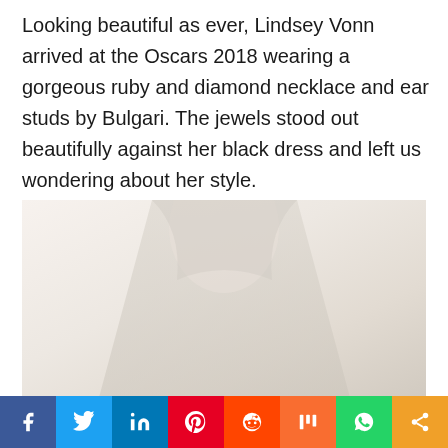Looking beautiful as ever, Lindsey Vonn arrived at the Oscars 2018 wearing a gorgeous ruby and diamond necklace and ear studs by Bulgari. The jewels stood out beautifully against her black dress and left us wondering about her style.
[Figure (photo): Partially visible photo of Lindsey Vonn, washed out/overexposed, showing her upper body and jewelry]